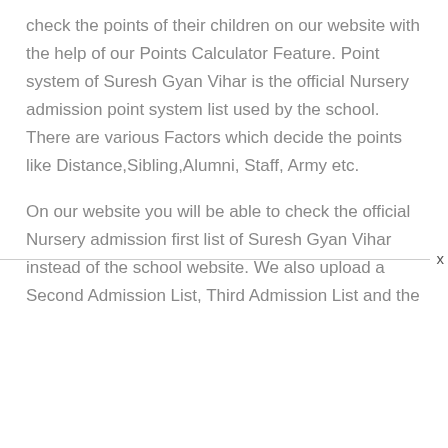check the points of their children on our website with the help of our Points Calculator Feature. Point system of Suresh Gyan Vihar is the official Nursery admission point system list used by the school. There are various Factors which decide the points like Distance,Sibling,Alumni, Staff, Army etc.
On our website you will be able to check the official Nursery admission first list of Suresh Gyan Vihar instead of the school website. We also upload a Second Admission List, Third Admission List and the Waiting list for students who are in waiting...